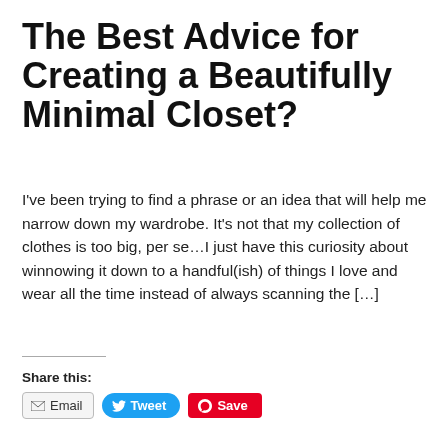The Best Advice for Creating a Beautifully Minimal Closet?
I've been trying to find a phrase or an idea that will help me narrow down my wardrobe. It's not that my collection of clothes is too big, per se…I just have this curiosity about winnowing it down to a handful(ish) of things I love and wear all the time instead of always scanning the […]
Share this:
Email  Tweet  Save